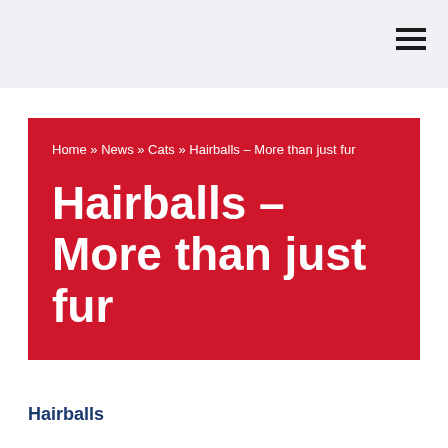Home » News » Cats » Hairballs – More than just fur
Hairballs – More than just fur
Hairballs